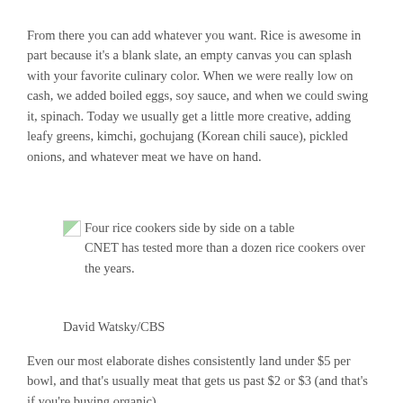From there you can add whatever you want. Rice is awesome in part because it's a blank slate, an empty canvas you can splash with your favorite culinary color. When we were really low on cash, we added boiled eggs, soy sauce, and when we could swing it, spinach. Today we usually get a little more creative, adding leafy greens, kimchi, gochujang (Korean chili sauce), pickled onions, and whatever meat we have on hand.
[Figure (photo): Four rice cookers side by side on a table. CNET has tested more than a dozen rice cookers over the years.]
David Watsky/CBS
Even our most elaborate dishes consistently land under $5 per bowl, and that's usually meat that gets us past $2 or $3 (and that's if you're buying organic).